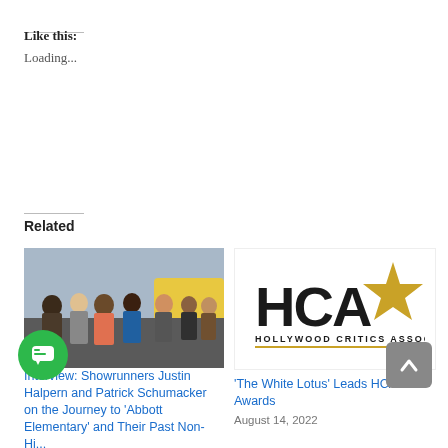Like this:
Loading...
Related
[Figure (photo): Group of people standing outdoors, appears to be cast of Abbott Elementary]
Interview: Showrunners Justin Halpern and Patrick Schumacker on the Journey to 'Abbott Elementary' and Their Past Non-Hi...
August 11, 2022
[Figure (logo): Hollywood Critics Association (HCA) logo with gold star]
'The White Lotus' Leads HCA TV Awards
August 14, 2022